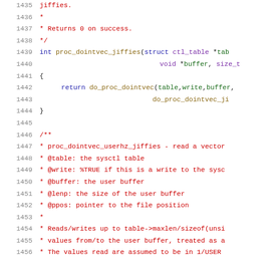Source code listing lines 1435-1456, C kernel code with comments and function definitions for proc_dointvec_jiffies and proc_dointvec_userhz_jiffies